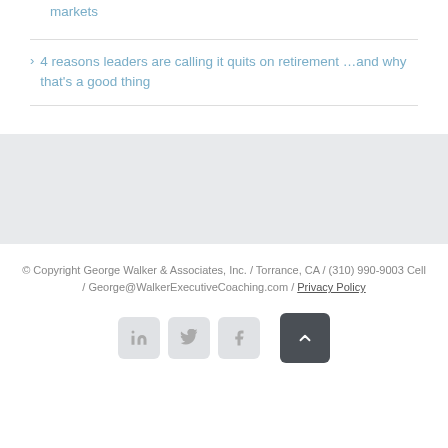markets
4 reasons leaders are calling it quits on retirement …and why that's a good thing
© Copyright George Walker & Associates, Inc. / Torrance, CA / (310) 990-9003 Cell / George@WalkerExecutiveCoaching.com / Privacy Policy